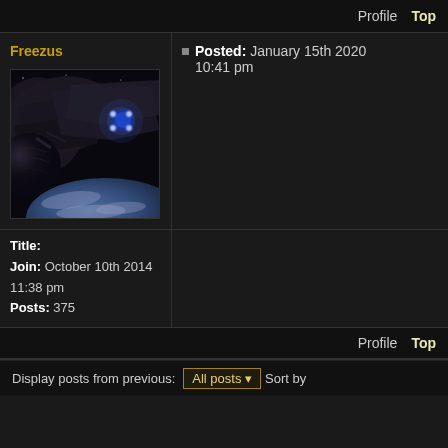Profile  Top
Freezus
Posted: January 15th 2020 10:41 pm
[Figure (photo): Avatar image showing a space scene with a large dark spacecraft or space station near a planet, with bright engine lights visible]
Title:
Join: October 10th 2014 11:38 pm
Posts: 375
Profile  Top
Display posts from previous:  All posts  Sort by